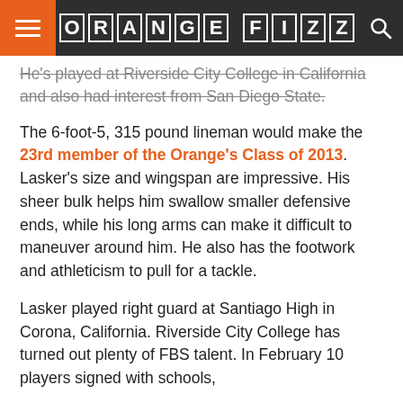ORANGE FIZZ
He's played at Riverside City College in California and also had interest from San Diego State.
The 6-foot-5, 315 pound lineman would make the 23rd member of the Orange's Class of 2013. Lasker's size and wingspan are impressive. His sheer bulk helps him swallow smaller defensive ends, while his long arms can make it difficult to maneuver around him. He also has the footwork and athleticism to pull for a tackle.
Lasker played right guard at Santiago High in Corona, California. Riverside City College has turned out plenty of FBS talent. In February 10 players signed with schools,